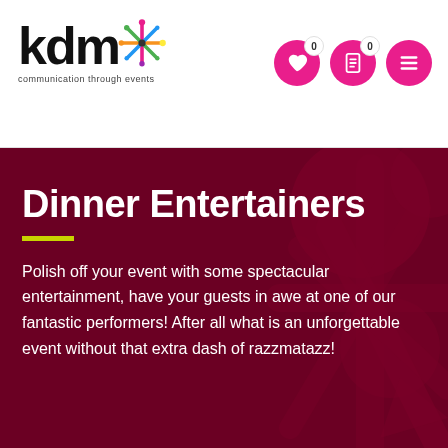[Figure (logo): KDM logo with colorful asterisk/snowflake graphic and tagline 'communication through events']
[Figure (infographic): Navigation icons: heart icon with counter 0, document icon with counter 0, and hamburger menu icon — all in pink/magenta circular buttons]
Dinner Entertainers
Polish off your event with some spectacular entertainment, have your guests in awe at one of our fantastic performers! After all what is an unforgettable event without that extra dash of razzmatazz!